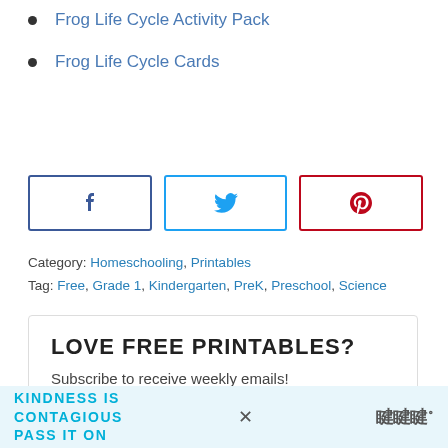Frog Life Cycle Activity Pack
Frog Life Cycle Cards
[Figure (other): Three social share buttons: Facebook (blue border, f icon), Twitter (light blue border, bird icon), Pinterest (red border, P icon)]
Category: Homeschooling, Printables
Tag: Free, Grade 1, Kindergarten, PreK, Preschool, Science
LOVE FREE PRINTABLES?
Subscribe to receive weekly emails!
KINDNESS IS CONTAGIOUS PASS IT ON